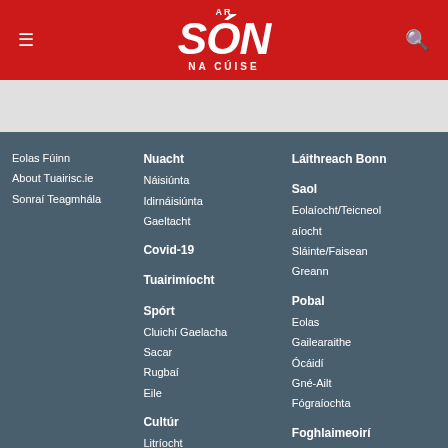AR Són NA CÚISE
Eolas Fúinn
About Tuairisc.ie
Sonraí Teagmhála
Nuacht
Náisiúnta
Idirnáisiúnta
Gaeltacht
Covid-19
Tuairimíocht
Spórt
Cluichí Gaelacha
Sacar
Rugbaí
Eile
Cultúr
Litríocht
Láithreach Bonn
Saol
Eolaíocht/Teicneolaíocht
Sláinte/Faisean
Greann
Pobal
Eolas
Gailearaithe
Ócáidí
Gné-Ailt
Fógraíochta
Foghlaimeoirí
Ardteist